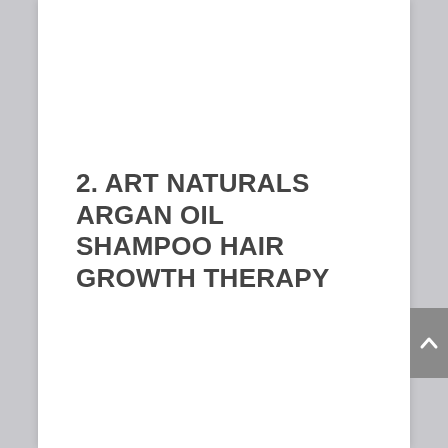2. ART NATURALS ARGAN OIL SHAMPOO HAIR GROWTH THERAPY